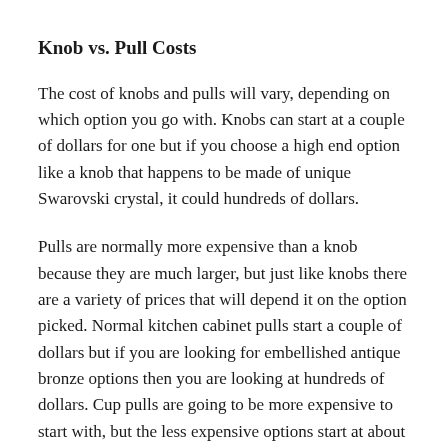Knob vs. Pull Costs
The cost of knobs and pulls will vary, depending on which option you go with. Knobs can start at a couple of dollars for one but if you choose a high end option like a knob that happens to be made of unique Swarovski crystal, it could hundreds of dollars.
Pulls are normally more expensive than a knob because they are much larger, but just like knobs there are a variety of prices that will depend it on the option picked. Normal kitchen cabinet pulls start a couple of dollars but if you are looking for embellished antique bronze options then you are looking at hundreds of dollars. Cup pulls are going to be more expensive to start with, but the less expensive options start at about $7.